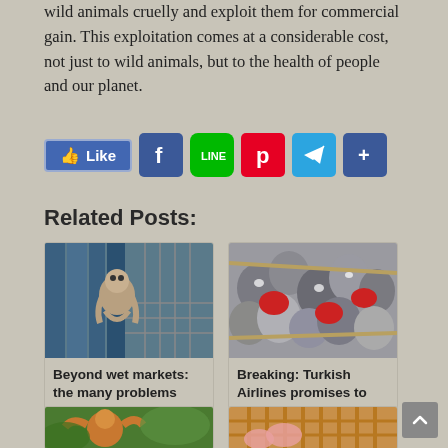wild animals cruelly and exploit them for commercial gain. This exploitation comes at a considerable cost, not just to wild animals, but to the health of people and our planet.
[Figure (other): Social sharing bar with Like button, Facebook, LINE, Pinterest, Telegram, and Share/plus icons]
Related Posts:
[Figure (photo): A monkey sitting on a wire cage, looking at something in its hands, with blue bars in the background]
Beyond wet markets: the many problems
[Figure (photo): A mass of grey parrots (African grey) crowded together with red fabric and wooden sticks visible]
Breaking: Turkish Airlines promises to
[Figure (photo): An orangutan hanging on a stick or branch with green jungle background]
[Figure (photo): A pig or animal visible through wire cage bars with gold/yellow metal grid]